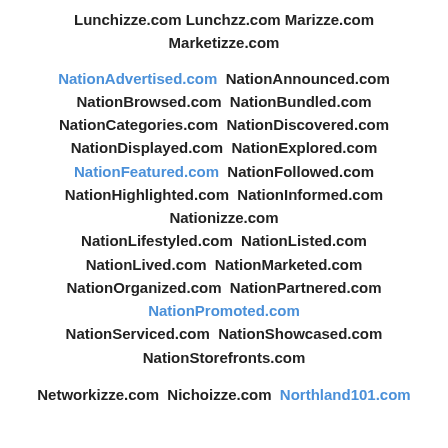Lunchizze.com Lunchzz.com Marizze.com Marketizze.com
NationAdvertised.com NationAnnounced.com NationBrowsed.com NationBundled.com NationCategories.com NationDiscovered.com NationDisplayed.com NationExplored.com NationFeatured.com NationFollowed.com NationHighlighted.com NationInformed.com Nationizze.com NationLifestyled.com NationListed.com NationLived.com NationMarketed.com NationOrganized.com NationPartnered.com NationPromoted.com NationServiced.com NationShowcased.com NationStorefronts.com
Networkizze.com Nichoizze.com Northland101.com